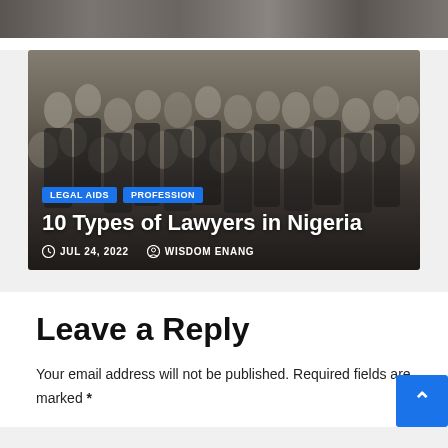[Figure (photo): Top strip of a photo, dark background, partially visible]
[Figure (photo): Crowd of lawyers wearing wigs and black gowns in a courtroom setting]
LEGAL AIDS
PROFESSION
10 Types of Lawyers in Nigeria
JUL 24, 2022
WISDOM ENANG
Leave a Reply
Your email address will not be published. Required fields are marked *